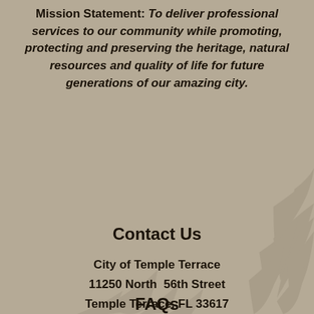Mission Statement: To deliver professional services to our community while promoting, protecting and preserving the heritage, natural resources and quality of life for future generations of our amazing city.
[Figure (illustration): Decorative palm frond silhouettes in a slightly darker tan/beige tone overlaid on the background, appearing in the lower right and lower center of the page.]
Contact Us
City of Temple Terrace
11250 North  56th Street
Temple Terrace, FL 33617
Tel: 813.506.6400
FAQs